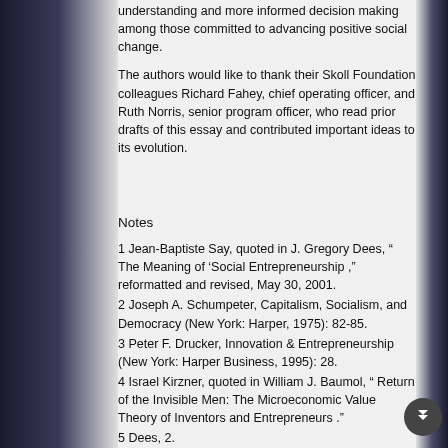understanding and more informed decision making among those committed to advancing positive social change.
The authors would like to thank their Skoll Foundation colleagues Richard Fahey, chief operating officer, and Ruth Norris, senior program officer, who read prior drafts of this essay and contributed important ideas to its evolution.
Notes
1 Jean-Baptiste Say, quoted in J. Gregory Dees, “ The Meaning of ‘Social Entrepreneurship ,” reformatted and revised, May 30, 2001.
2 Joseph A. Schumpeter, Capitalism, Socialism, and Democracy (New York: Harper, 1975): 82-85.
3 Peter F. Drucker, Innovation & Entrepreneurship (New York: Harper Business, 1995): 28.
4 Israel Kirzner, quoted in William J. Baumol, “ Return of the Invisible Men: The Microeconomic Value Theory of Inventors and Entrepreneurs .”
5 Dees, 2.
6 Baumol, 1.
7 Carl J. Schramm, “ Entrepreneurial Capitalism and the End of Bureaucracy: Reforming the Mutual Dialog of Risk Aversion ,”